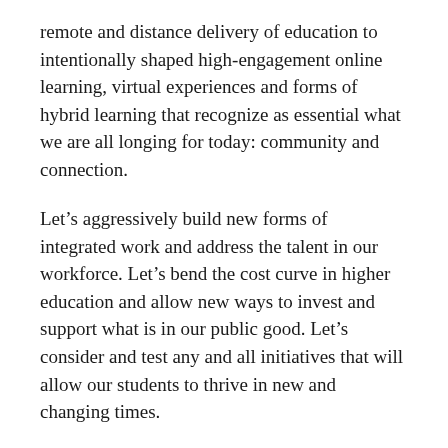remote and distance delivery of education to intentionally shaped high-engagement online learning, virtual experiences and forms of hybrid learning that recognize as essential what we are all longing for today: community and connection.
Let’s aggressively build new forms of integrated work and address the talent in our workforce. Let’s bend the cost curve in higher education and allow new ways to invest and support what is in our public good. Let’s consider and test any and all initiatives that will allow our students to thrive in new and changing times.
Any planned pace of change we thought we needed for acceptance and viability within our institutions has been completely upended. We now understand